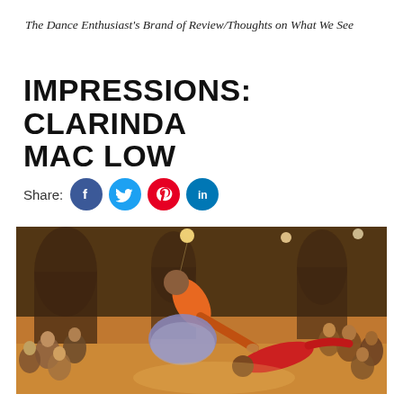The Dance Enthusiast's Brand of Review/Thoughts on What We See
IMPRESSIONS: CLARINDA MAC LOW
Share:
[Figure (photo): Two dancers performing on a wooden stage floor in a hall with audience seated along the sides. One dancer in an orange top and patterned skirt leans back dramatically while holding hands with a second dancer in red who is nearly horizontal to the floor, supported only by their connection. Warm stage lighting illuminates the scene.]